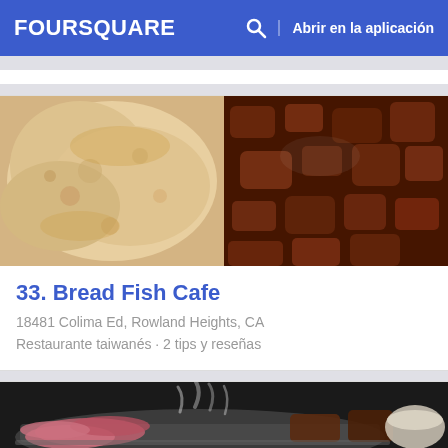FOURSQUARE  Abrir en la aplicación
[Figure (photo): Close-up food photo split: left half shows toasted bread/flatbread, right half shows braised/stewed meat chunks in dark sauce]
33. Bread Fish Cafe
18481 Colima Ed, Rowland Heights, CA
Restaurante taiwanés · 2 tips y reseñas
[Figure (photo): Photo of Korean BBQ or hot pot with raw meat slices on a metal grill tray, steam rising, and a small bowl visible on the right]